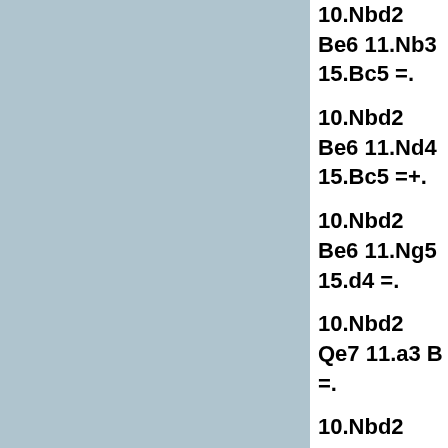10.Nbd2 Be6 11.Nb3 15.Bc5 =.
10.Nbd2 Be6 11.Nd4 15.Bc5 =+.
10.Nbd2 Be6 11.Ng5 15.d4 =.
10.Nbd2 Qe7 11.a3 B =.
10.Nbd2 Qe7 11.Rb1 15.a3 =.
10.Nbd2 Qe7 11.Re1 15.Ne4 =.
11.a3 Bf8 12.Qc1 Be7
11.Rb1 b5 12.a4 ba4
11.Nb3 Qe7 12.a4 Bd
11.a3 Bf8 12.a4 d